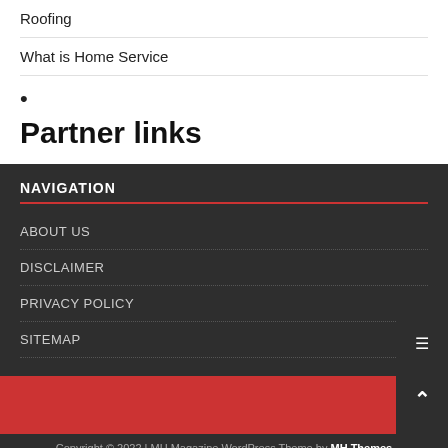Roofing
What is Home Service
•
Partner links
NAVIGATION
ABOUT US
DISCLAIMER
PRIVACY POLICY
SITEMAP
Copyright © 2022 | MH Magazine WordPress Theme by MH Themes